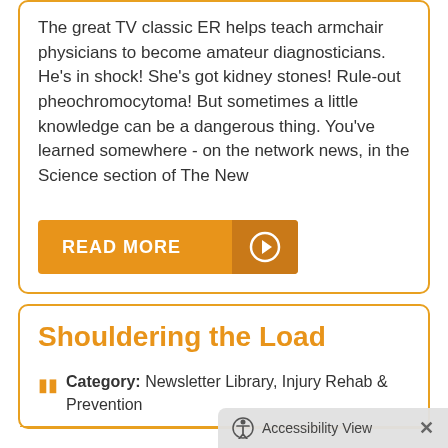The great TV classic ER helps teach armchair physicians to become amateur diagnosticians. He's in shock! She's got kidney stones! Rule-out pheochromocytoma! But sometimes a little knowledge can be a dangerous thing. You've learned somewhere - on the network news, in the Science section of The New
READ MORE
Shouldering the Load
Category: Newsletter Library, Injury Rehab & Prevention
Accessibility View